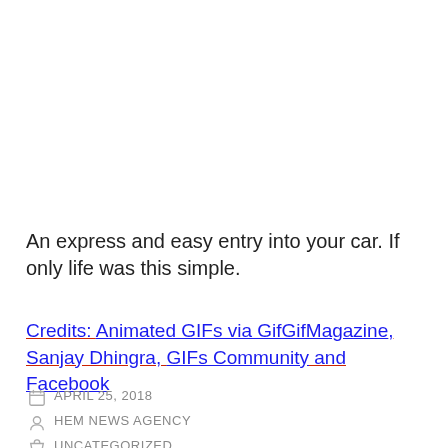An express and easy entry into your car. If only life was this simple.
Credits: Animated GIFs via GifGifMagazine, Sanjay Dhingra, GIFs Community and Facebook
APRIL 25, 2018
HEM NEWS AGENCY
UNCATEGORIZED